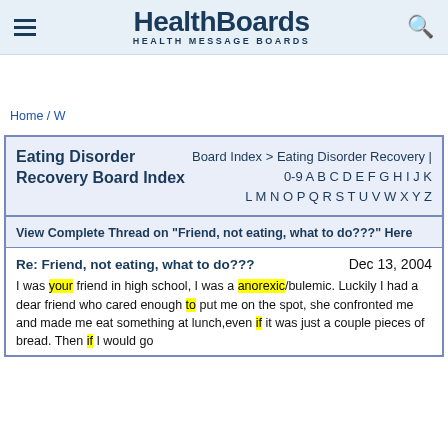HealthBoards HEALTH MESSAGE BOARDS
Home / W
Eating Disorder Recovery Board Index
Board Index > Eating Disorder Recovery | 0-9 A B C D E F G H I J K L M N O P Q R S T U V W X Y Z
View Complete Thread on "Friend, not eating, what to do???" Here
Re: Friend, not eating, what to do???
Dec 13, 2004
I was your friend in high school, I was a anorexic/bulemic. Luckily I had a dear friend who cared enough to put me on the spot, she confronted me and made me eat something at lunch, even if it was just a couple pieces of bread. Then if I would go